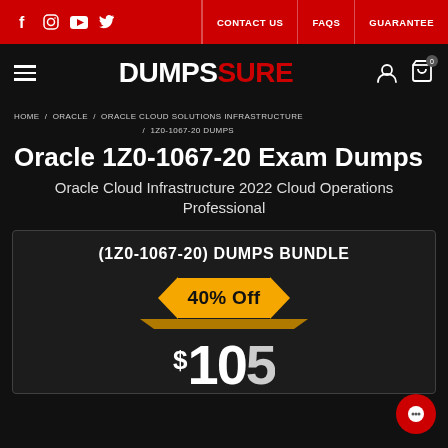CONTACT US   FAQS   GUARANTEE
DUMPSSURE
HOME / ORACLE / ORACLE CLOUD SOLUTIONS INFRASTRUCTURE / 1Z0-1067-20 DUMPS
Oracle 1Z0-1067-20 Exam Dumps
Oracle Cloud Infrastructure 2022 Cloud Operations Professional
(1Z0-1067-20) DUMPS BUNDLE
40% Off
$105